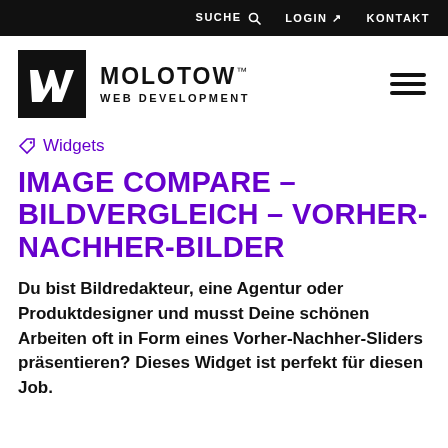SUCHE  LOGIN ↗  KONTAKT
[Figure (logo): Molotow Web Development logo: black square with white W, brand name MOLOTOW™ WEB DEVELOPMENT]
Widgets
IMAGE COMPARE – BILDVERGLEICH – VORHER-NACHHER-BILDER
Du bist Bildredakteur, eine Agentur oder Produktdesigner und musst Deine schönen Arbeiten oft in Form eines Vorher-Nachher-Sliders präsentieren? Dieses Widget ist perfekt für diesen Job.